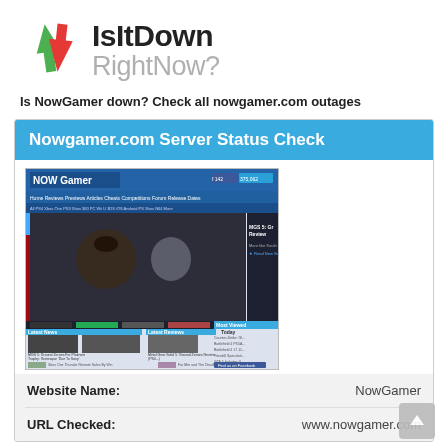[Figure (logo): IsItDownRightNow? logo with green up arrow and red down arrow, overlapping]
IsItDown RightNow?
Is NowGamer down? Check all nowgamer.com outages
Nowgamer.com Server Status Check
[Figure (screenshot): Screenshot of NowGamer website homepage showing gaming news, reviews, and MGS 5 Ground Zeroes content]
| Field | Value |
| --- | --- |
| Website Name: | NowGamer |
| URL Checked: | www.nowgamer.com |